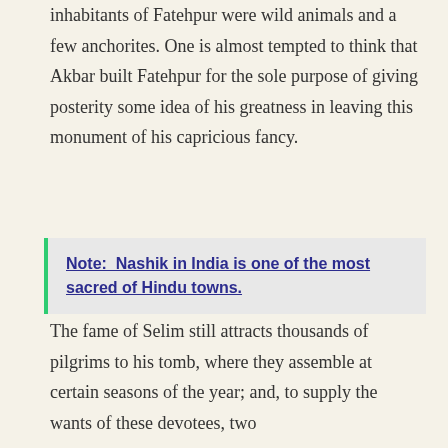inhabitants of Fatehpur were wild animals and a few anchorites. One is almost tempted to think that Akbar built Fatehpur for the sole purpose of giving posterity some idea of his greatness in leaving this monument of his capricious fancy.
Note: Nashik in India is one of the most sacred of Hindu towns.
The fame of Selim still attracts thousands of pilgrims to his tomb, where they assemble at certain seasons of the year; and, to supply the wants of these devotees, two